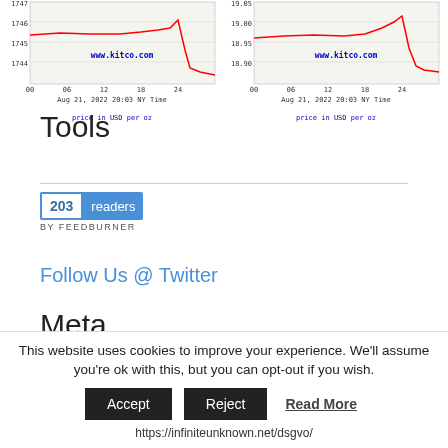[Figure (continuous-plot): Kitco gold price chart showing price around 1744-1747 USD per oz, Aug 21, 2022 20:03 NY Time, with red price line dropping sharply at right. X-axis: 00, 06, 12, 18, 24. www.kitco.com watermark. Caption: price in USD per oz]
[Figure (continuous-plot): Kitco silver price chart showing price around 18.90-19.05 USD per oz, Aug 21, 2022 20:03 NY Time, with red price line dropping sharply at right. X-axis: 00, 06, 12, 18, 24. www.kitco.com watermark. Caption: price in USD per oz]
Tools
[Figure (other): FeedBurner badge showing 203 readers]
Follow Us @ Twitter
Meta
This website uses cookies to improve your experience. We'll assume you're ok with this, but you can opt-out if you wish.
Accept  Reject  Read More
https://infiniteunknown.net/dsgvo/